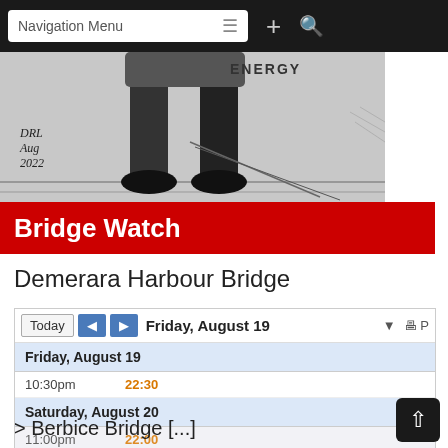Navigation Menu
[Figure (illustration): Black and white sketch/cartoon illustration showing lower body of a figure with the word ENERGY visible, signed DRL Aug 2022]
Bridge Watch
Demerara Harbour Bridge
[Figure (screenshot): Google Calendar widget showing Friday, August 19 with event at 10:30pm / 22:30, and Saturday, August 20 with event at 11:00pm / 22:00. Events shown in time zone: Guyana Time. Google Calendar branding visible.]
> Berbice Bridge [...]